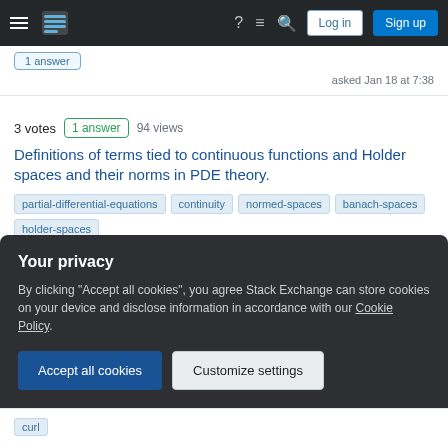Stack Exchange navigation bar with logo, help, chat, search, Log in, Sign up
asked Jan 18 at 7:38
3 votes  1 answer  94 views
Definitions of terms tied to continuous functions and Holder spaces and their norms in PDE theory.
Tags: partial-differential-equations, continuity, normed-spaces, banach-spaces, holder-spaces
asked Jan 25 at 0:10
Your privacy
By clicking "Accept all cookies", you agree Stack Exchange can store cookies on your device and disclose information in accordance with our Cookie Policy.
Accept all cookies
Customize settings
curl